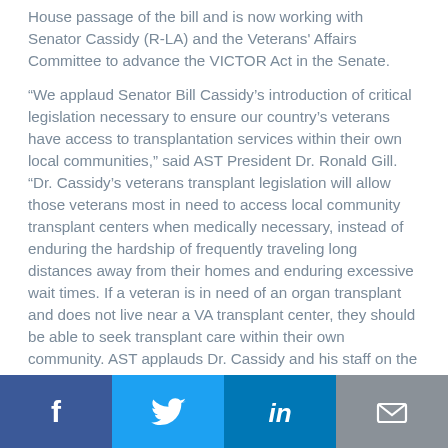House passage of the bill and is now working with Senator Cassidy (R-LA) and the Veterans' Affairs Committee to advance the VICTOR Act in the Senate.

“We applaud Senator Bill Cassidy’s introduction of critical legislation necessary to ensure our country’s veterans have access to transplantation services within their own local communities,” said AST President Dr. Ronald Gill. “Dr. Cassidy’s veterans transplant legislation will allow those veterans most in need to access local community transplant centers when medically necessary, instead of enduring the hardship of frequently traveling long distances away from their homes and enduring excessive wait times. If a veteran is in need of an organ transplant and does not live near a VA transplant center, they should be able to seek transplant care within their own community. AST applauds Dr. Cassidy and his staff on the development and introduction of this important legislation, and looks forward to working closely with the senator to advance this bill on behalf of our nation’s veterans.”
[Figure (infographic): Social media sharing buttons: Facebook (blue), Twitter (light blue), LinkedIn (dark blue), Email (grey)]